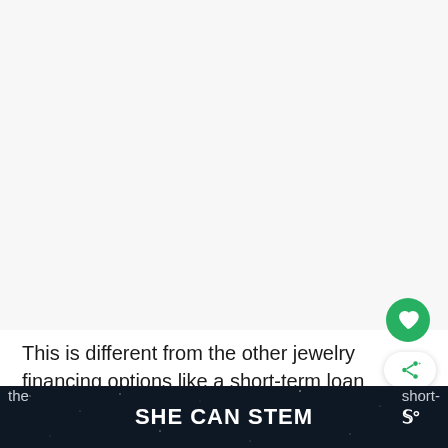[Figure (other): Large empty/white image placeholder area occupying the top portion of the page]
This is different from the other jewelry financing options like a short-term loan from
the ... SHE CAN STEM ... short-term...